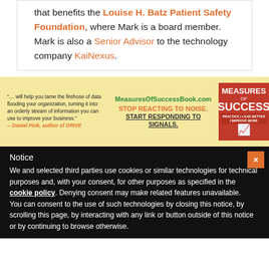that benefits the Louise H. Batz Patient Safety Foundation, where Mark is a board member. Mark is also a Senior Advisor to the technology company KaiNexus.
[Figure (infographic): Advertisement banner for MeasuresOfSuccessBook.com with yellow background. Left: quote '"… will help you tame the firehose of data flooding your organization, turning it into an orderly stream of information you can use to improve your business." -- Daniel Pink, author of DRIVE'. Center: 'MeasuresOfSuccessBook.com STOP REACTING TO NOISE. START RESPONDING TO SIGNALS.' Right: book cover for MEASURES OF SUCCESS in red.]
Notice
We and selected third parties use cookies or similar technologies for technical purposes and, with your consent, for other purposes as specified in the cookie policy. Denying consent may make related features unavailable.
You can consent to the use of such technologies by closing this notice, by scrolling this page, by interacting with any link or button outside of this notice or by continuing to browse otherwise.